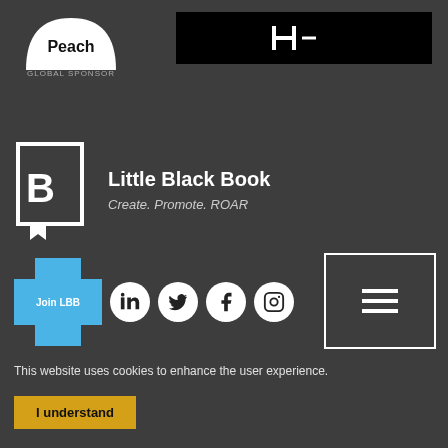[Figure (logo): Peach logo - white half-circle with 'Peach' text and 'GLOBAL SPONSOR' below]
[Figure (logo): H- logo on black rectangular background]
[Figure (logo): Little Black Book logo with LBB icon, title 'Little Black Book' and tagline 'Create. Promote. ROAR']
[Figure (infographic): Join LBB blue cross button and social media icons: LinkedIn, Twitter, Facebook, Instagram]
[Figure (other): Hamburger menu button (three lines) in bordered square]
This website uses cookies to enhance the user experience.
I understand